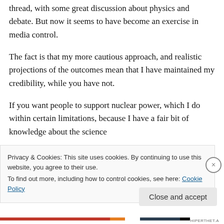thread, with some great discussion about physics and debate. But now it seems to have become an exercise in media control.
The fact is that my more cautious approach, and realistic projections of the outcomes mean that I have maintained my credibility, while you have not.
If you want people to support nuclear power, which I do within certain limitations, because I have a fair bit of knowledge about the science
Privacy & Cookies: This site uses cookies. By continuing to use this website, you agree to their use.
To find out more, including how to control cookies, see here: Cookie Policy
Close and accept